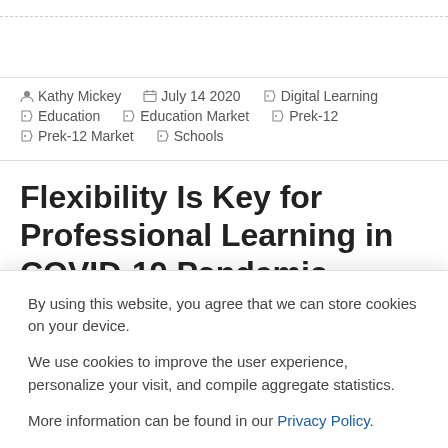By Kathy Mickey   July 14 2020   Digital Learning   Education   Education Market   Prek-12   Prek-12 Market   Schools
Flexibility Is Key for Professional Learning in COVID-19 Pandemic
By using this website, you agree that we can store cookies on your device.

We use cookies to improve the user experience, personalize your visit, and compile aggregate statistics.

More information can be found in our Privacy Policy.
Accept   Decline